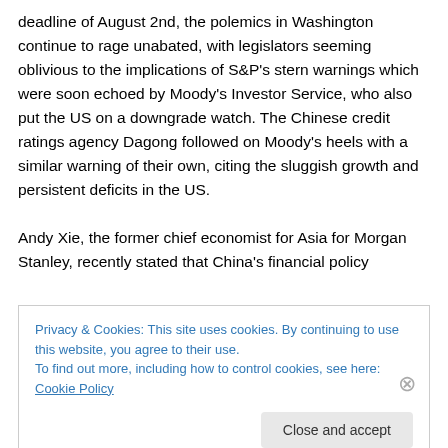deadline of August 2nd, the polemics in Washington continue to rage unabated, with legislators seeming oblivious to the implications of S&P's stern warnings which were soon echoed by Moody's Investor Service, who also put the US on a downgrade watch. The Chinese credit ratings agency Dagong followed on Moody's heels with a similar warning of their own, citing the sluggish growth and persistent deficits in the US.
Andy Xie, the former chief economist for Asia for Morgan Stanley, recently stated that China's financial policy
Privacy & Cookies: This site uses cookies. By continuing to use this website, you agree to their use.
To find out more, including how to control cookies, see here: Cookie Policy
Close and accept